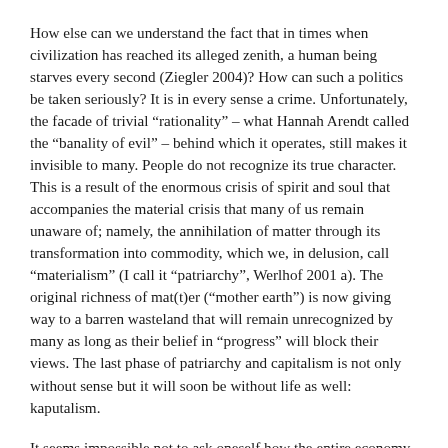How else can we understand the fact that in times when civilization has reached its alleged zenith, a human being starves every second (Ziegler 2004)? How can such a politics be taken seriously? It is in every sense a crime. Unfortunately, the facade of trivial “rationality” – what Hannah Arendt called the “banality of evil” – behind which it operates, still makes it invisible to many. People do not recognize its true character. This is a result of the enormous crisis of spirit and soul that accompanies the material crisis that many of us remain unaware of; namely, the annihilation of matter through its transformation into commodity, which we, in delusion, call “materialism” (I call it “patriarchy”, Werlhof 2001 a). The original richness of mat(t)er (“mother earth”) is now giving way to a barren wasteland that will remain unrecognized by many as long as their belief in “progress” will block their views. The last phase of patriarchy and capitalism is not only without sense but it will soon be without life as well: kaputalism.
It seems impossible not to ask oneself how the entire economy came to follow one motive only: the monism of making money. Especially since this does not only apply to the economy, but also to politics, science, arts and even our social relations.
The notion that capitalism and democracy are one is proven a